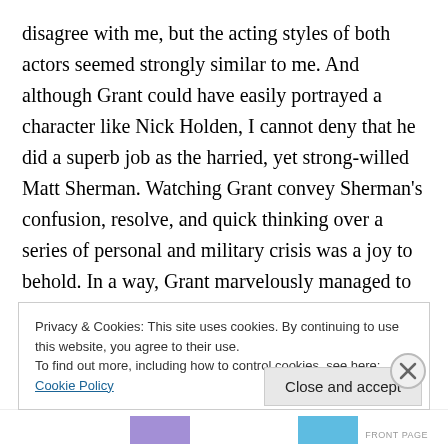disagree with me, but the acting styles of both actors seemed strongly similar to me. And although Grant could have easily portrayed a character like Nick Holden, I cannot deny that he did a superb job as the harried, yet strong-willed Matt Sherman. Watching Grant convey Sherman's confusion, resolve, and quick thinking over a series of personal and military crisis was a joy to behold. In a way, Grant marvelously managed to keep the story together, thanks to his performance.
The television series, "OPERATION PETTICOAT" did not
Privacy & Cookies: This site uses cookies. By continuing to use this website, you agree to their use.
To find out more, including how to control cookies, see here: Cookie Policy